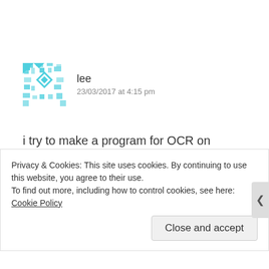[Figure (illustration): Teal/cyan geometric avatar icon for user 'lee']
lee
23/03/2017 at 4:15 pm
i try to make a program for OCR on xamarin but it's not works . i think tesseractAPI using XLabs plugin, but that's maintain any more. do you have any idea? I hope to get your reply
Privacy & Cookies: This site uses cookies. By continuing to use this website, you agree to their use.
To find out more, including how to control cookies, see here: Cookie Policy
Close and accept